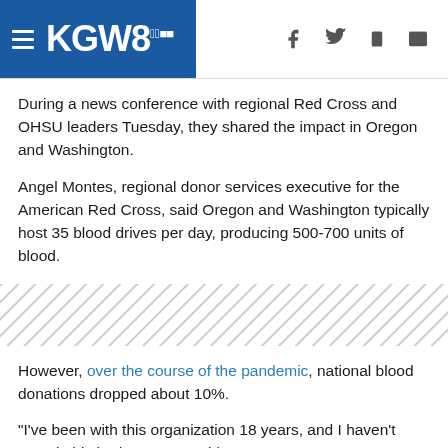KGW8
During a news conference with regional Red Cross and OHSU leaders Tuesday, they shared the impact in Oregon and Washington.
Angel Montes, regional donor services executive for the American Red Cross, said Oregon and Washington typically host 35 blood drives per day, producing 500-700 units of blood.
[Figure (other): Diagonal hatching/divider pattern strip]
However, over the course of the pandemic, national blood donations dropped about 10%.
"I've been with this organization 18 years, and I haven't seen it this bad," Montes said.